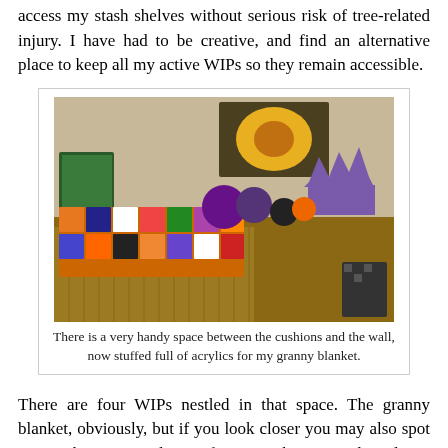access my stash shelves without serious risk of tree-related injury. I have had to be creative, and find an alternative place to keep all my active WIPs so they remain accessible.
[Figure (photo): Photo of a couch with colorful yarn/knitting projects stuffed between the cushions and the wall, with artwork visible on the wall in the background.]
There is a very handy space between the cushions and the wall, now stuffed full of acrylics for my granny blanket.
There are four WIPs nestled in that space. The granny blanket, obviously, but if you look closer you may also spot Jamie's hat, a second pair of Saartje's booties and my latest cast on - the ribbed lace bolero. Now, when I find myself sat on the sofa in front of the TV, I can just reach up behind me